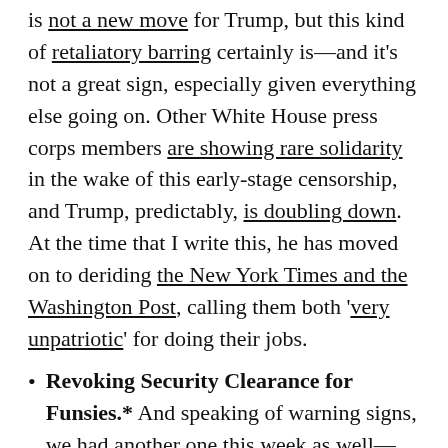is not a new move for Trump, but this kind of retaliatory barring certainly is—and it's not a great sign, especially given everything else going on. Other White House press corps members are showing rare solidarity in the wake of this early-stage censorship, and Trump, predictably, is doubling down. At the time that I write this, he has moved on to deriding the New York Times and the Washington Post, calling them both 'very unpatriotic' for doing their jobs.
Revoking Security Clearance for Funsies.* And speaking of warning signs, we had another one this week as well—Trump threatened to revoke security clearance from former White House advisers who